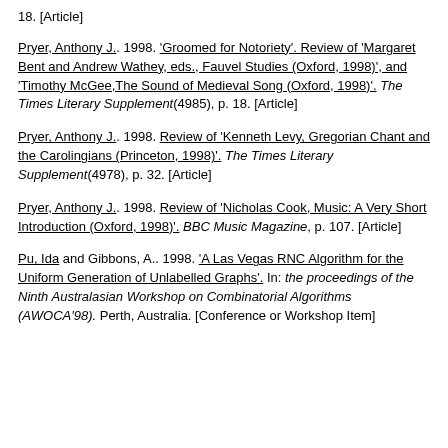18. [Article]
Pryer, Anthony J.. 1998. 'Groomed for Notoriety'. Review of 'Margaret Bent and Andrew Wathey, eds., Fauvel Studies (Oxford, 1998)', and 'Timothy McGee,The Sound of Medieval Song (Oxford, 1998)'. The Times Literary Supplement(4985), p. 18. [Article]
Pryer, Anthony J.. 1998. Review of 'Kenneth Levy, Gregorian Chant and the Carolingians (Princeton, 1998)'. The Times Literary Supplement(4978), p. 32. [Article]
Pryer, Anthony J.. 1998. Review of 'Nicholas Cook, Music: A Very Short Introduction (Oxford, 1998)'. BBC Music Magazine, p. 107. [Article]
Pu, Ida and Gibbons, A.. 1998. 'A Las Vegas RNC Algorithm for the Uniform Generation of Unlabelled Graphs'. In: the proceedings of the Ninth Australasian Workshop on Combinatorial Algorithms (AWOCA'98). Perth, Australia. [Conference or Workshop Item]